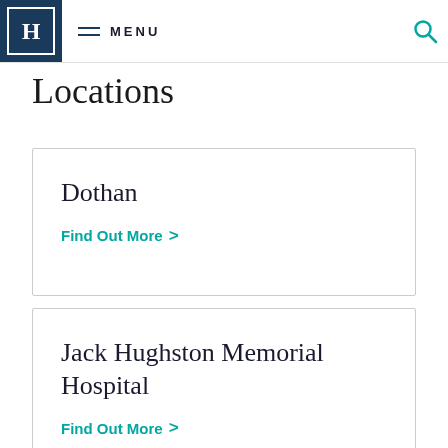H | MENU
Locations
Dothan
Find Out More >
Jack Hughston Memorial Hospital
Find Out More >